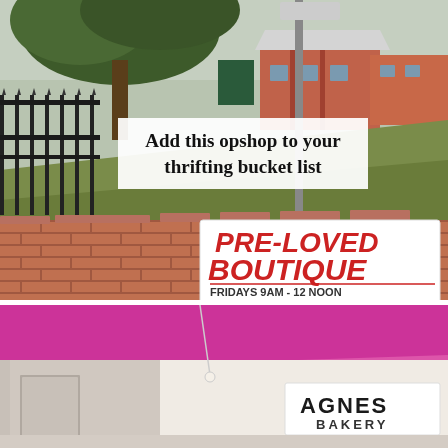[Figure (photo): Outdoor street scene with trees, iron fence, brick wall, and a white sign reading PRE-LOVED BOUTIQUE FRIDAYS 9AM - 12 NOON. A text overlay reads 'Add this opshop to your thrifting bucket list'.]
[Figure (photo): Storefront with a pink/magenta awning and a white sign reading AGNES BAKERY.]